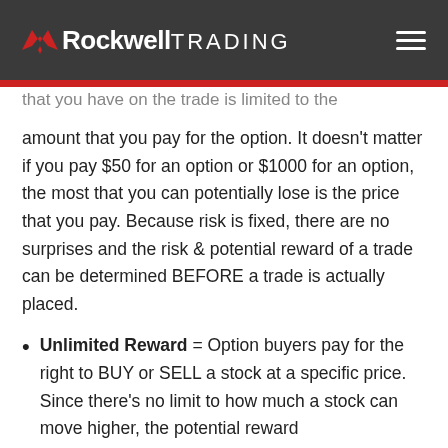Rockwell TRADING
that you have on the trade is limited to the amount that you pay for the option. It doesn't matter if you pay $50 for an option or $1000 for an option, the most that you can potentially lose is the price that you pay. Because risk is fixed, there are no surprises and the risk & potential reward of a trade can be determined BEFORE a trade is actually placed.
Unlimited Reward = Option buyers pay for the right to BUY or SELL a stock at a specific price. Since there's no limit to how much a stock can move higher, the potential reward